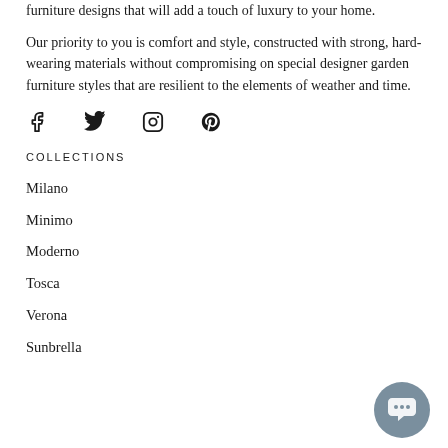furniture designs that will add a touch of luxury to your home.
Our priority to you is comfort and style, constructed with strong, hard-wearing materials without compromising on special designer garden furniture styles that are resilient to the elements of weather and time.
[Figure (infographic): Social media icons: Facebook, Twitter, Instagram, Pinterest]
COLLECTIONS
Milano
Minimo
Moderno
Tosca
Verona
Sunbrella